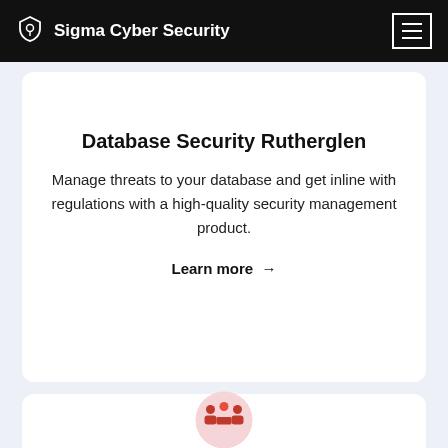Sigma Cyber Security
[Figure (illustration): Pink circle with red database cylinder icon, partially clipped at top of card]
Database Security Rutherglen
Manage threats to your database and get inline with regulations with a high-quality security management product.
Learn more →
[Figure (illustration): Pink circle with red group/team icon, partially visible at bottom of page]